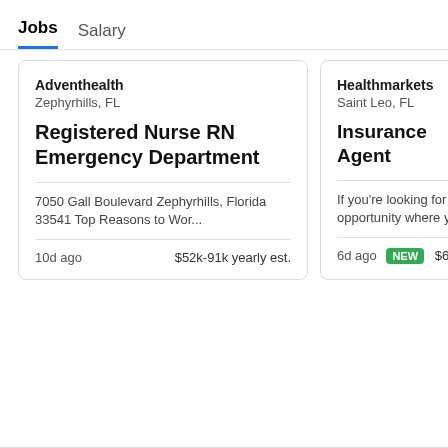Jobs  Salary
Adventhealth
Zephyrhills, FL
Registered Nurse RN Emergency Department
7050 Gall Boulevard Zephyrhills, Florida 33541 Top Reasons to Wor...
10d ago  $52k-91k yearly est.
Healthmarkets
Saint Leo, FL
Insurance Agent
If you're looking for a opportunity where yo
6d ago  NEW  $65k